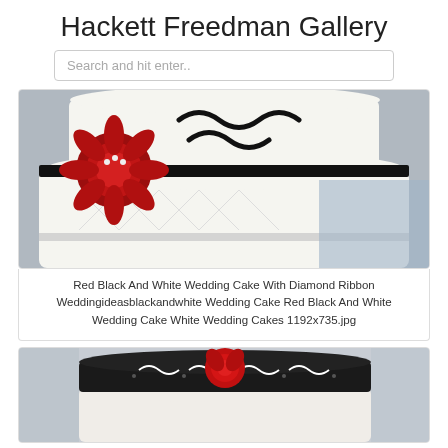Hackett Freedman Gallery
Search and hit enter..
[Figure (photo): Close-up of a white tiered wedding cake with black scrollwork, a diamond ribbon border, and a large red dahlia flower with pearl accents.]
Red Black And White Wedding Cake With Diamond Ribbon Weddingideasblackandwhite Wedding Cake Red Black And White Wedding Cake White Wedding Cakes 1192x735.jpg
[Figure (photo): White tiered wedding cake with a black damask band decorated with swirls and dots, topped with a red rose sugar flower.]